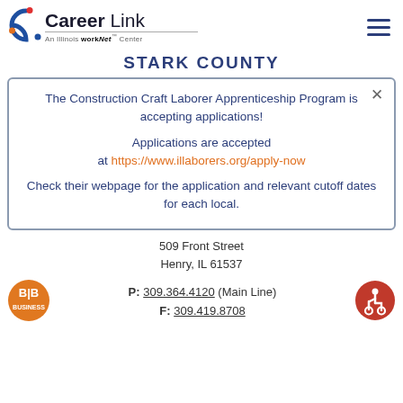[Figure (logo): Career Link logo with circular icon and 'An Illinois workNet Center' subtitle]
STARK COUNTY
The Construction Craft Laborer Apprenticeship Program is accepting applications!

Applications are accepted at https://www.illaborers.org/apply-now

Check their webpage for the application and relevant cutoff dates for each local.
509 Front Street
Henry, IL 61537
P: 309.364.4120 (Main Line)
F: 309.419.8708